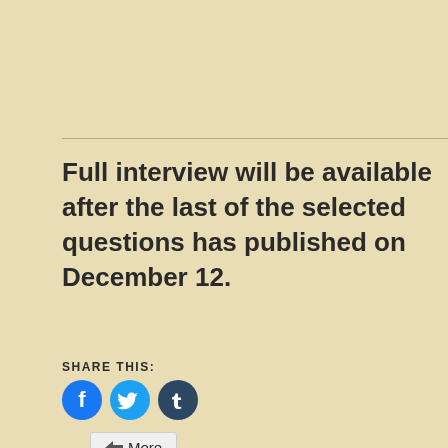Full interview will be available after the last of the selected questions has published on December 12.
SHARE THIS:
[Figure (other): Social sharing icons: Facebook (blue circle), Twitter (light blue circle), Tumblr (dark blue circle), and a More button]
LIKE THIS: